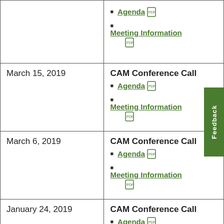| Date | Meeting |
| --- | --- |
| (partial top row) | Agenda [pdf]
Meeting Information [pdf] |
| March 15, 2019 | CAM Conference Call
Agenda [pdf]
Meeting Information [pdf] |
| March 6, 2019 | CAM Conference Call
Agenda [pdf]
Meeting Information [pdf] |
| January 24, 2019 | CAM Conference Call
Agenda [pdf]
Meeting Information [pdf] |